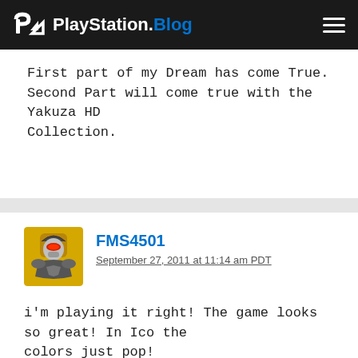PlayStation.Blog
First part of my Dream has come True. Second Part will come true with the Yakuza HD Collection.
FMS4501
September 27, 2011 at 11:14 am PDT
i'm playing it right! The game looks so great! In Ico the colors just pop!